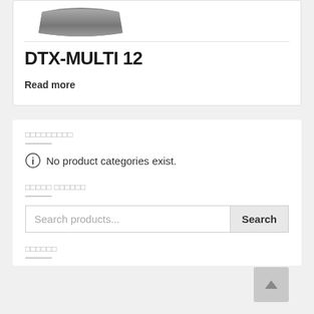[Figure (photo): Product image of DTX-MULTI 12 device (dark hardware device shown partially at top)]
DTX-MULTI 12
Read more
ааааааааа
No product categories exist.
ааааа аааааа
Search products...
аааааа